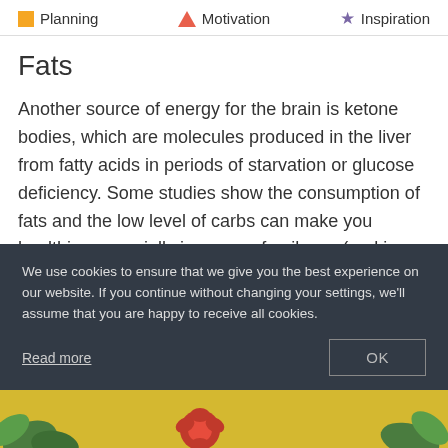Planning   Motivation   Inspiration
Fats
Another source of energy for the brain is ketone bodies, which are molecules produced in the liver from fatty acids in periods of starvation or glucose deficiency. Some studies show the consumption of fats and the low level of carbs can make you healthier, especially in cases of epilepsy (and in cases of diabetes II, some studies say). The low or no-carbs and high-fat diet proved itself effective for weight loss, and in some
We use cookies to ensure that we give you the best experience on our website. If you continue without changing your settings, we'll assume that you are happy to receive all cookies.
Read more
OK